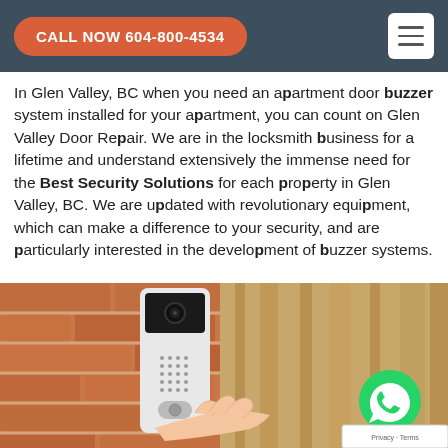CALL NOW 604-800-4534
In Glen Valley, BC when you need an apartment door buzzer system installed for your apartment, you can count on Glen Valley Door Repair. We are in the locksmith business for a lifetime and understand extensively the immense need for the Best Security Solutions for each property in Glen Valley, BC. We are updated with revolutionary equipment, which can make a difference to your security, and are particularly interested in the development of buzzer systems.
[Figure (photo): A hand pressing a doorbell/buzzer intercom panel mounted on a brick wall next to a door]